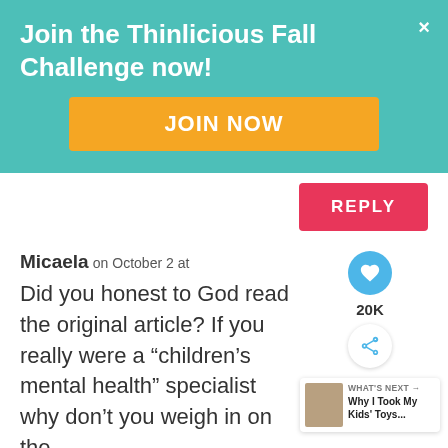Join the Thinlicious Fall Challenge now!
JOIN NOW
REPLY
Micaela on October 2 at
Did you honest to God read the original article? If you really were a “children’s mental health” specialist why don’t you weigh in on the
20K
WHAT'S NEXT → Why I Took My Kids' Toys...